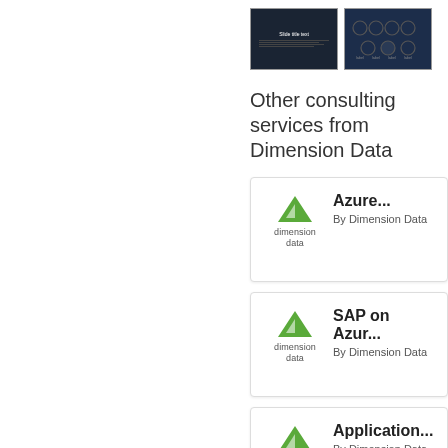[Figure (screenshot): Two dark-themed presentation slide thumbnails side by side]
Other consulting services from Dimension Data
[Figure (illustration): Service card: Azure... By Dimension Data with Dimension Data logo]
[Figure (illustration): Service card: SAP on Azur... By Dimension Data with Dimension Data logo]
[Figure (illustration): Service card: Application... By Dimension Data with Dimension Data logo]